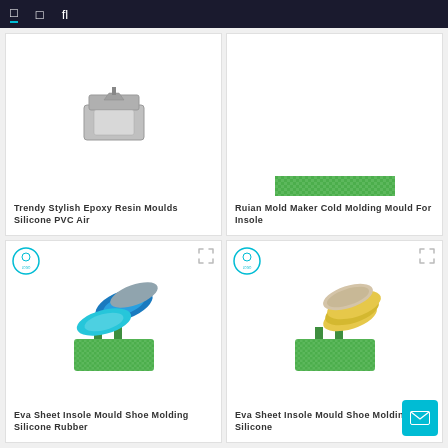Navigation bar with icons
[Figure (photo): Epoxy resin mould / metal mold product image]
Trendy Stylish Epoxy Resin Moulds Silicone PVC Air
[Figure (photo): Ruian mold cold molding mould for insole - green textured mold product]
Ruian Mold Maker Cold Molding Mould For Insole
[Figure (photo): Eva sheet insole mould shoe molding silicone rubber - blue insoles with green mold]
Eva Sheet Insole Mould Shoe Molding Silicone Rubber
[Figure (photo): Eva sheet insole mould shoe molding silicone - beige/yellow insoles with green mold]
Eva Sheet Insole Mould Shoe Molding Silicone